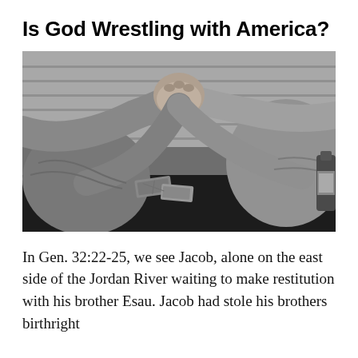Is God Wrestling with America?
[Figure (photo): Black and white photograph of two people arm wrestling on a table, with crumpled dollar bills visible on the table between them. A wooden plank wall is visible in the background.]
In Gen. 32:22-25, we see Jacob, alone on the east side of the Jordan River waiting to make restitution with his brother Esau. Jacob had stole his brothers birthright